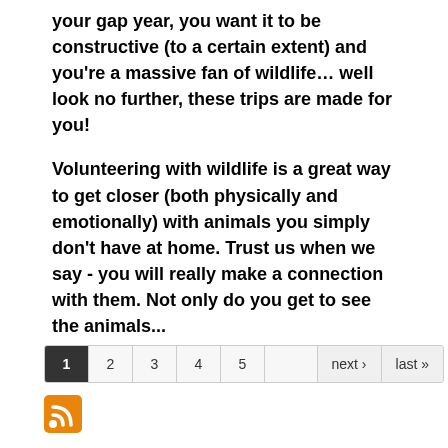your gap year, you want it to be constructive (to a certain extent) and you're a massive fan of wildlife… well look no further, these trips are made for you!
Volunteering with wildlife is a great way to get closer (both physically and emotionally) with animals you simply don't have at home. Trust us when we say - you will really make a connection with them. Not only do you get to see the animals...
Read More
1 2 3 4 5 ... next › last »